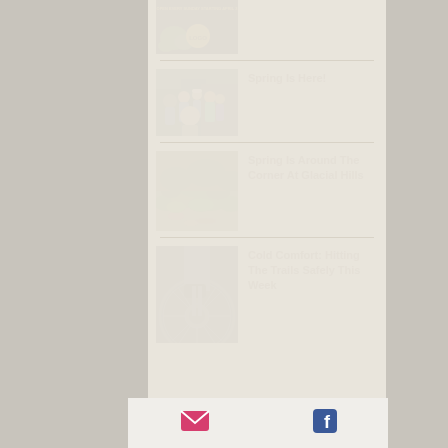[Figure (photo): Dark background image with logo and text, partially cropped at top]
[Figure (photo): Group of people posing together outdoors for a selfie photo]
Spring Is Here!
[Figure (photo): Green groundcover plants with dead leaves on the ground, spring greenery]
Spring Is Around The Corner At Glacial Hills
[Figure (photo): Close-up of a bicycle wheel and tire with person's legs visible]
Cold Comfort: Hitting The Trails Safely This Week
[Figure (illustration): Email envelope icon in pink/magenta]
[Figure (illustration): Facebook logo icon in blue]